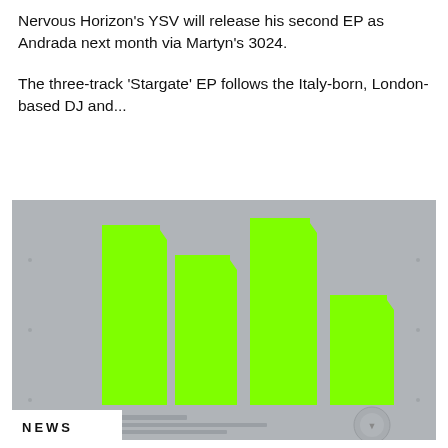Nervous Horizon's YSV will release his second EP as Andrada next month via Martyn's 3024.
The three-track 'Stargate' EP follows the Italy-born, London-based DJ and...
[Figure (logo): Beatport logo / artwork image showing neon green abstract bar shapes on a grey background with small text and a circular logo at bottom right, and a 'NEWS' badge in white at bottom left.]